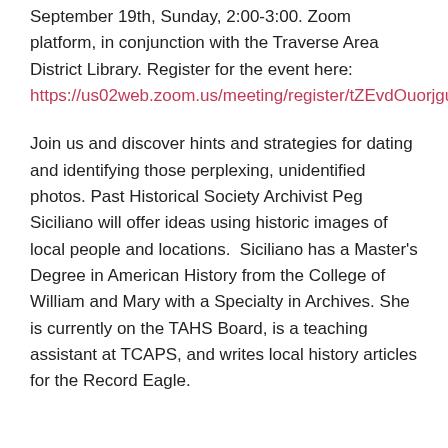September 19th, Sunday, 2:00-3:00. Zoom platform, in conjunction with the Traverse Area District Library. Register for the event here: https://us02web.zoom.us/meeting/register/tZEvdOuorjguGc
Join us and discover hints and strategies for dating and identifying those perplexing, unidentified photos. Past Historical Society Archivist Peg Siciliano will offer ideas using historic images of local people and locations. Siciliano has a Master's Degree in American History from the College of William and Mary with a Specialty in Archives. She is currently on the TAHS Board, is a teaching assistant at TCAPS, and writes local history articles for the Record Eagle.